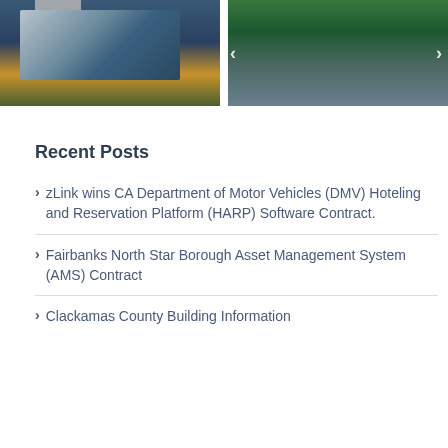[Figure (photo): Modern glass office building exterior at dusk with blue and gold tones, circular driveway]
[Figure (photo): Aerial view of a town square or plaza with a water feature, trees, and brick walkways]
Recent Posts
zLink wins CA Department of Motor Vehicles (DMV) Hoteling and Reservation Platform (HARP) Software Contract.
Fairbanks North Star Borough Asset Management System (AMS) Contract
Clackamas County Building Information